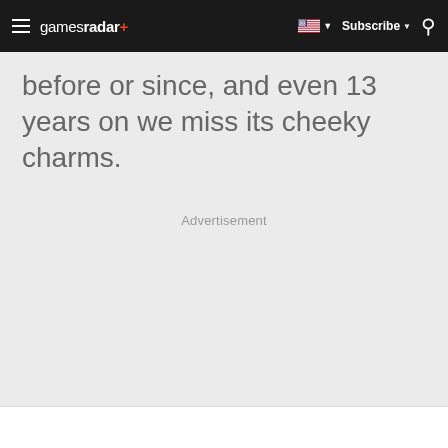gamesradar+ | Subscribe | Search
before or since, and even 13 years on we miss its cheeky charms.
Advertisement